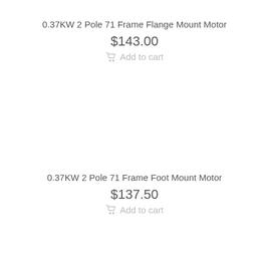0.37KW 2 Pole 71 Frame Flange Mount Motor
$143.00
Add to cart
0.37KW 2 Pole 71 Frame Foot Mount Motor
$137.50
Add to cart